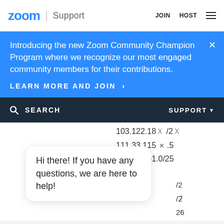zoom | Support   JOIN  HOST  ☰
Introducing the new Zoom Community Champion Program where we recognize our most engaged community members for their contributions.
LEARN MORE AND JOIN >
🔍 SEARCH    SUPPORT ▼
103.122.18x /2x
111.33.115x .5
111.33.181.0/25
Hi there! If you have any questions, we are here to help!
115.114.191.0/26
120.29.1x.x/24
129.15x.x.x/27
129.151.x.x/27
129.151.2.0/27
Give Feedback